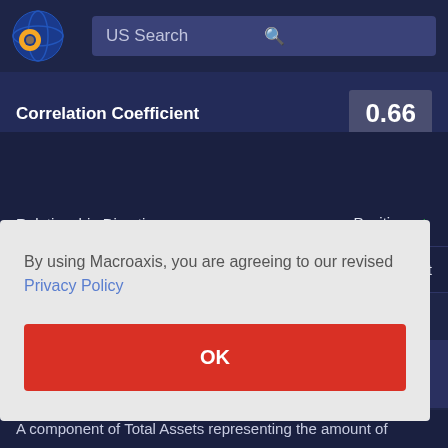US Search
Correlation Coefficient   0.66
|  |  |
| --- | --- |
| Relationship Direction | Positive ↑ |
| Relationship Strength | Significant |
By using Macroaxis, you are agreeing to our revised Privacy Policy
OK
A component of Total Assets representing the amount of